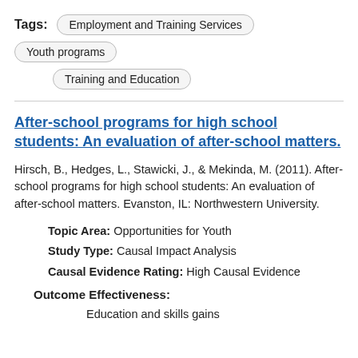Tags: Employment and Training Services  Youth programs  Training and Education
After-school programs for high school students: An evaluation of after-school matters.
Hirsch, B., Hedges, L., Stawicki, J., & Mekinda, M. (2011). After-school programs for high school students: An evaluation of after-school matters. Evanston, IL: Northwestern University.
Topic Area: Opportunities for Youth
Study Type: Causal Impact Analysis
Causal Evidence Rating: High Causal Evidence
Outcome Effectiveness:
Education and skills gains